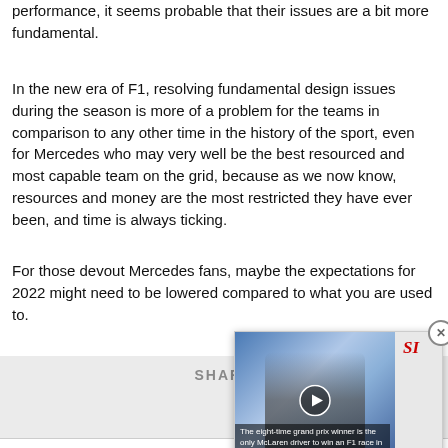performance, it seems probable that their issues are a bit more fundamental.
In the new era of F1, resolving fundamental design issues during the season is more of a problem for the teams in comparison to any other time in the history of the sport, even for Mercedes who may very well be the best resourced and most capable team on the grid, because as we now know, resources and money are the most restricted they have ever been, and time is always ticking.
For those devout Mercedes fans, maybe the expectations for 2022 might need to be lowered compared to what you are used to.
[Figure (screenshot): Video overlay showing a McLaren driver with trophy, SI logo in top right, caption reading 'The eight-time grand prix winner is the only McLaren driver to win an F1 race in the last decade, but now, he's a free agent.' Close button (X in circle) in top right, X button at bottom center.]
SHARE